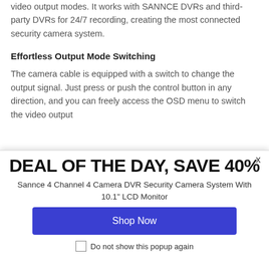video output modes. It works with SANNCE DVRs and third-party DVRs for 24/7 recording, creating the most connected security camera system.
Effortless Output Mode Switching
The camera cable is equipped with a switch to change the output signal. Just press or push the control button in any direction, and you can freely access the OSD menu to switch the video output
DEAL OF THE DAY, SAVE 40%
Sannce 4 Channel 4 Camera DVR Security Camera System With 10.1" LCD Monitor
Shop Now
Do not show this popup again